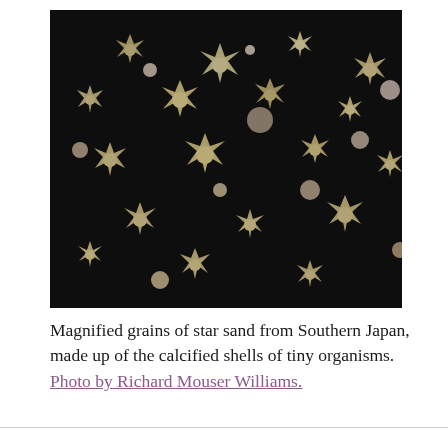[Figure (photo): Close-up macro photograph of magnified star sand grains from Southern Japan on a dark background. The grains are star-shaped and spiky, composed of calcified shells of tiny foraminifera organisms. Colors are tan/beige/cream against black.]
Magnified grains of star sand from Southern Japan, made up of the calcified shells of tiny organisms. Photo by Richard Mouser Williams.